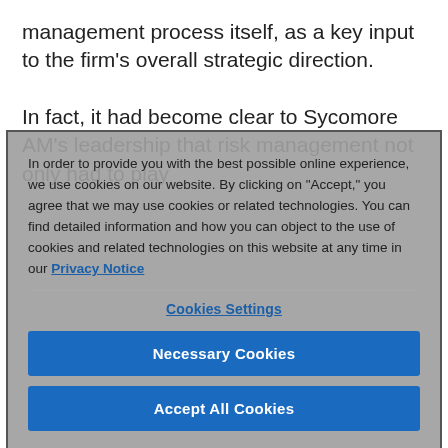management process itself, as a key input to the firm's overall strategic direction.
In fact, it had become clear to Sycomore AM's leadership that risk management not only had to play
In order to provide you with the best possible online experience, we use cookies on our website. By clicking on "Accept," you agree that we may use cookies or related technologies. You can find detailed information and how you can object to the use of cookies and related technologies on this website at any time in our Privacy Notice
Cookies Settings
Necessary Cookies
Accept All Cookies